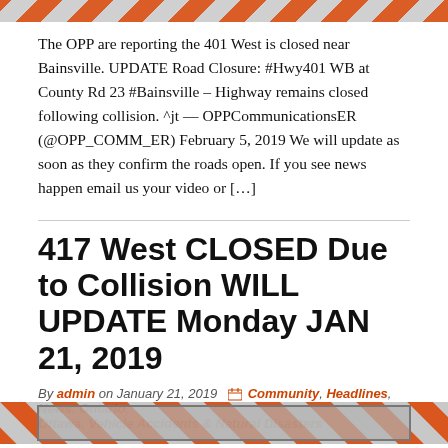[Figure (illustration): Hazard stripe banner at top of page, orange and grey diagonal stripes]
The OPP are reporting the 401 West is closed near Bainsville. UPDATE Road Closure: #Hwy401 WB at County Rd 23 #Bainsville – Highway remains closed following collision. ^jt — OPPCommunicationsER (@OPP_COMM_ER) February 5, 2019 We will update as soon as they confirm the roads open. If you see news happen email us your video or […]
417 West CLOSED Due to Collision WILL UPDATE Monday JAN 21, 2019
By admin on January 21, 2019  Community, Headlines, News, Ontario, Ottawa, Vehicle Accidents & Natural Disasters
[Figure (illustration): Hazard stripe banner at bottom of page, orange and grey diagonal stripes with a silver/grey inner rectangle]